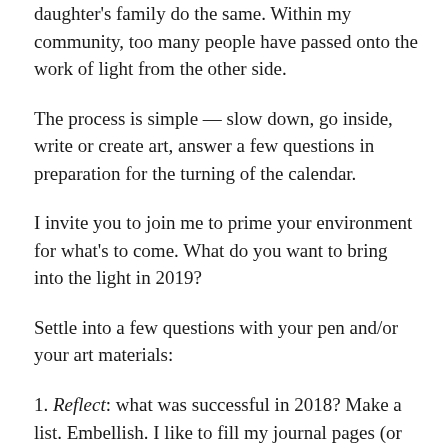daughter's family do the same. Within my community, too many people have passed onto the work of light from the other side.
The process is simple — slow down, go inside, write or create art, answer a few questions in preparation for the turning of the calendar.
I invite you to join me to prime your environment for what's to come. What do you want to bring into the light in 2019?
Settle into a few questions with your pen and/or your art materials:
1. Reflect: what was successful in 2018? Make a list. Embellish. I like to fill my journal pages (or large newsprint) with the lists of everything I remember. I'll